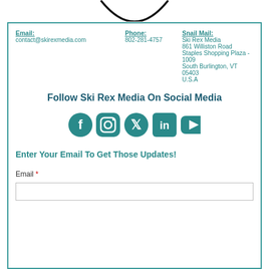[Figure (illustration): Bottom arc of a circular logo, black curved line on white background]
Email: contact@skirexmedia.com
Phone: 802-281-4757
Snail Mail: Ski Rex Media 861 Williston Road Staples Shopping Plaza - 1009 South Burlington, VT 05403 U.S.A
Follow Ski Rex Media On Social Media
[Figure (illustration): Social media icons: Facebook, Instagram, Twitter, LinkedIn, YouTube in teal color]
Enter Your Email To Get Those Updates!
Email *